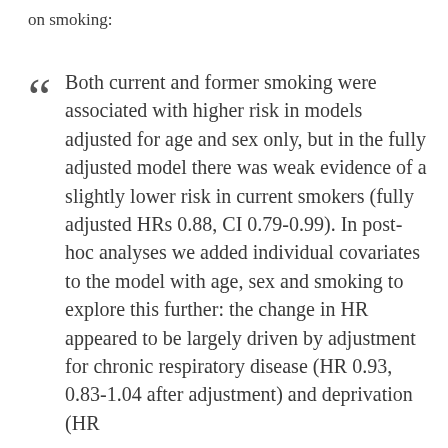on smoking:
Both current and former smoking were associated with higher risk in models adjusted for age and sex only, but in the fully adjusted model there was weak evidence of a slightly lower risk in current smokers (fully adjusted HRs 0.88, CI 0.79-0.99). In post-hoc analyses we added individual covariates to the model with age, sex and smoking to explore this further: the change in HR appeared to be largely driven by adjustment for chronic respiratory disease (HR 0.93, 0.83-1.04 after adjustment) and deprivation (HR